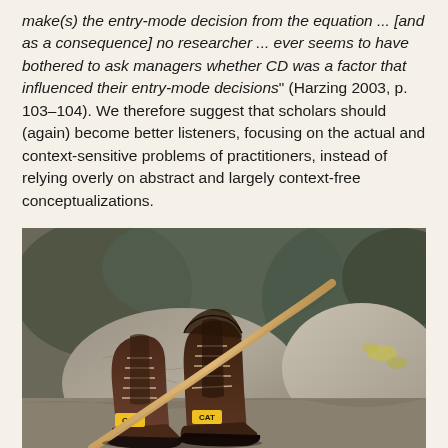make(s) the entry-mode decision from the equation ... [and as a consequence] no researcher ... ever seems to have bothered to ask managers whether CD was a factor that influenced their entry-mode decisions" (Harzing 2003, p. 103–104). We therefore suggest that scholars should (again) become better listeners, focusing on the actual and context-sensitive problems of practitioners, instead of relying overly on abstract and largely context-free conceptualizations.
[Figure (photo): Photograph of two worn brown CAT (Caterpillar) work boots resting on rocks outdoors, with a wooden tool handle (likely an axe or similar) leaning against them. Rocky terrain and sparse vegetation visible in the background.]